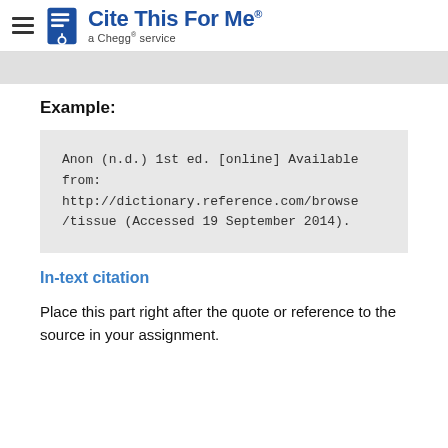Cite This For Me — a Chegg service
Example:
Anon (n.d.) 1st ed. [online] Available from: http://dictionary.reference.com/browse/tissue (Accessed 19 September 2014).
In-text citation
Place this part right after the quote or reference to the source in your assignment.